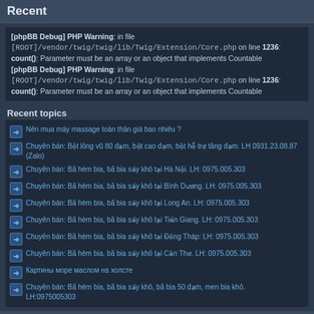Recent
[phpBB Debug] PHP Warning: in file [ROOT]/vendor/twig/twig/lib/Twig/Extension/Core.php on line 1236: count(): Parameter must be an array or an object that implements Countable
[phpBB Debug] PHP Warning: in file [ROOT]/vendor/twig/twig/lib/Twig/Extension/Core.php on line 1236: count(): Parameter must be an array or an object that implements Countable
Recent topics
Nên mua máy massage toàn thân giá bao nhiêu ?
Chuyên bán: Bột lông vũ 80 đạm, bột cao đạm, bột hỗ trợ tăng đạm. LH 0931.23.08.87 (Zalo)
Chuyên bán: Bã hèm bia, bã bia sấy khô tại Hà Nội. LH: 0975.005.303
Chuyên bán: Bã hèm bia, bã bia sấy khô tại Bình Dương. LH: 0975.005.303
Chuyên bán: Bã hèm bia, bã bia sấy khô tại Long An. LH: 0975.005.303
Chuyên bán: Bã hèm bia, bã bia sấy khô tại Tiền Giang. LH: 0975.005.303
Chuyên bán: Bã hèm bia, bã bia sấy khô tại Đồng Tháp: LH: 0975.005.303
Chuyên bán: Bã hèm bia, bã bia sấy khô tại Cần Thơ. LH: 0975.005.303
Картины море маслом на холсте
Chuyên bán: Bã hèm bia, bã bia sấy khô, bã bia 50 đạm, men bia khô. LH:0975005303
Old School BYOB
The audio is great .. Sanz says "I'm just hell bent on knifing the fucker" .. lol